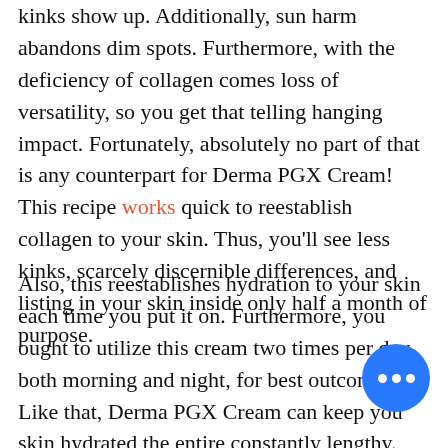kinks show up. Additionally, sun harm abandons dim spots. Furthermore, with the deficiency of collagen comes loss of versatility, so you get that telling hanging impact. Fortunately, absolutely no part of that is any counterpart for Derma PGX Cream! This recipe works quick to reestablish collagen to your skin. Thus, you'll see less kinks, scarcely discernible differences, and listing in your skin inside only half a month of purpose.
Also, this reestablishes hydration to your skin each time you put it on. Furthermore, you ought to utilize this cream two times per day, both morning and night, for best outcomes. Like that, Derma PGX Cream can keep you skin hydrated the entire constantly lengthy. Furthermore, trust us, that not exclusively will assist with clearer look more youthful immediately, however likewise dial back maturing in skin. Since, dry skin ages quicker than saturated skin.